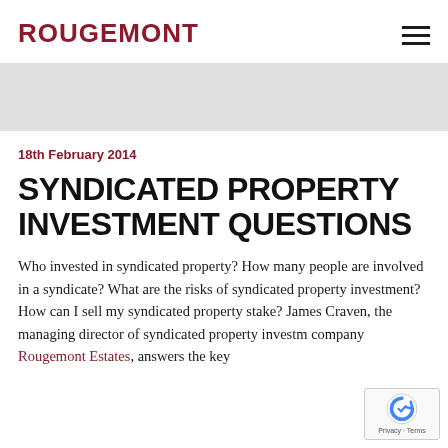ROUGEMONT
[Figure (photo): Light grey rectangular placeholder hero image banner]
18th February 2014
SYNDICATED PROPERTY INVESTMENT QUESTIONS
Who invested in syndicated property? How many people are involved in a syndicate? What are the risks of syndicated property investment? How can I sell my syndicated property stake? James Craven, the managing director of syndicated property investment company Rougemont Estates, answers the key